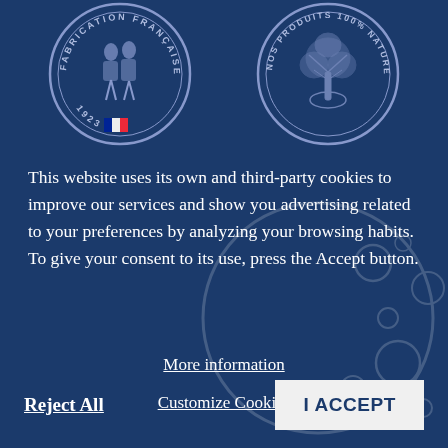[Figure (logo): Two circular seals/logos on dark blue background. Left seal: 'FABRICATION FRANÇAISE DEPUIS 1923' with French flag and figures. Right seal: 'NOS PRODUITS 100% NATURELS' with tree/plant motif.]
This website uses its own and third-party cookies to improve our services and show you advertising related to your preferences by analyzing your browsing habits. To give your consent to its use, press the Accept button.
More information
Customize Cookies
Reject All
I ACCEPT